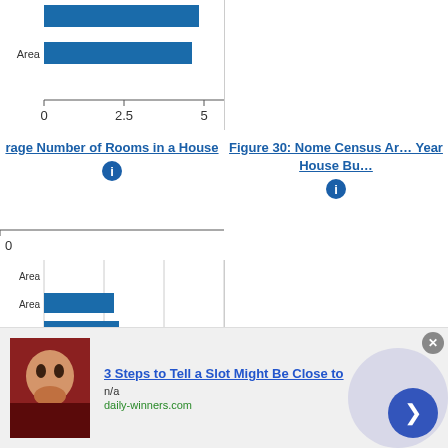[Figure (bar-chart): Partial horizontal bar chart top strip left — shows bar ending near value ~4.3 and x-axis 0, 2.5, 5]
[Figure (bar-chart): Partial horizontal bar chart top strip right — shows Kusilvak Census Area bar]
Average Number of Rooms in a House
Figure 30: Nome Census Area Year House Built
[Figure (bar-chart): Partial left horizontal bar chart showing rooms data. Labels truncated on left. Green bar for Nome Census Area. Blue bars for others.]
[Figure (bar-chart): Horizontal bar chart. United States=gray, Nome Census Area=green, others=blue.]
3 Steps to Tell a Slot Might Be Close to
n/a
daily-winners.com